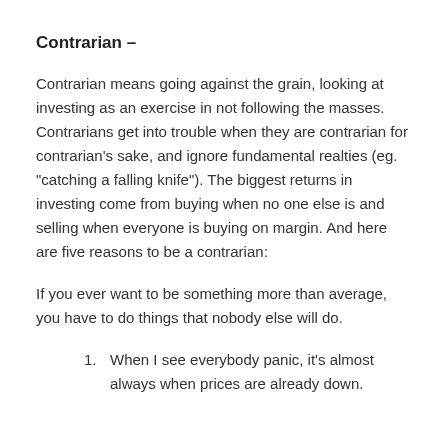Contrarian –
Contrarian means going against the grain, looking at investing as an exercise in not following the masses. Contrarians get into trouble when they are contrarian for contrarian's sake, and ignore fundamental realties (eg. "catching a falling knife"). The biggest returns in investing come from buying when no one else is and selling when everyone is buying on margin. And here are five reasons to be a contrarian:
If you ever want to be something more than average, you have to do things that nobody else will do.
1. When I see everybody panic, it's almost always when prices are already down.